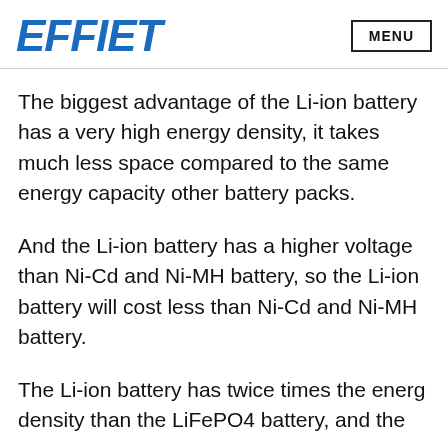EFFIET | MENU
The biggest advantage of the Li-ion battery has a very high energy density, it takes much less space compared to the same energy capacity other battery packs.
And the Li-ion battery has a higher voltage than Ni-Cd and Ni-MH battery, so the Li-ion battery will cost less than Ni-Cd and Ni-MH battery.
The Li-ion battery has twice times the energy density than the LiFePO4 battery, and the...